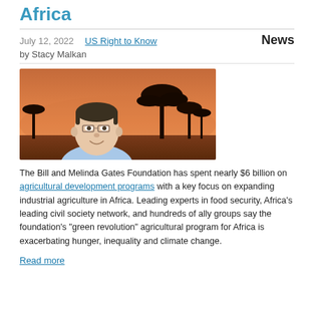Africa
July 12, 2022    US Right to Know    News
by Stacy Malkan
[Figure (illustration): Illustrated portrait of Bill Gates with African savanna sunset background with silhouetted acacia trees]
The Bill and Melinda Gates Foundation has spent nearly $6 billion on agricultural development programs with a key focus on expanding industrial agriculture in Africa. Leading experts in food security, Africa's leading civil society network, and hundreds of ally groups say the foundation's "green revolution" agricultural program for Africa is exacerbating hunger, inequality and climate change.
Read more